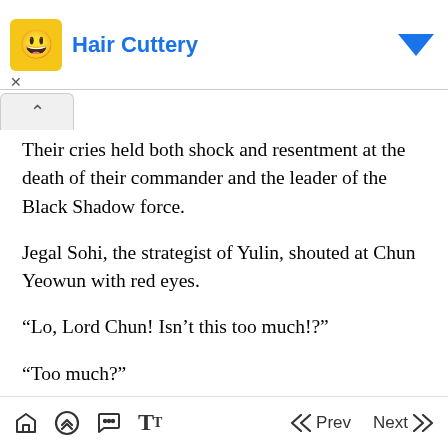Hair Cuttery [advertisement banner]
Their cries held both shock and resentment at the death of their commander and the leader of the Black Shadow force.
Jegal Sohi, the strategist of Yulin, shouted at Chun Yeowun with red eyes.
“Lo, Lord Chun! Isn’t this too much!?”
“Too much?”
“Commander Kang said he was guilty and cut off his own hand. Besides, apart from that, isn’t your cult and the Forces of Justice allies, isn’t this excessive
Prev  Next